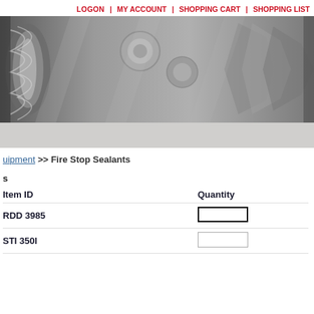LOGON | MY ACCOUNT | SHOPPING CART | SHOPPING LIST
[Figure (photo): Black and white close-up photo of metal screws and bolts, industrial hardware components]
uipment >> Fire Stop Sealants
s
| Item ID | Quantity |
| --- | --- |
| RDD 3985 |  |
| STI 350I |  |